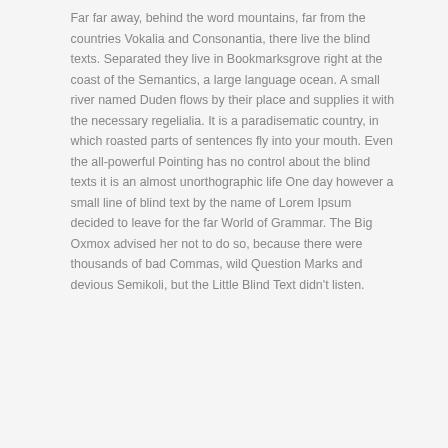Far far away, behind the word mountains, far from the countries Vokalia and Consonantia, there live the blind texts. Separated they live in Bookmarksgrove right at the coast of the Semantics, a large language ocean. A small river named Duden flows by their place and supplies it with the necessary regelialia. It is a paradisematic country, in which roasted parts of sentences fly into your mouth. Even the all-powerful Pointing has no control about the blind texts it is an almost unorthographic life One day however a small line of blind text by the name of Lorem Ipsum decided to leave for the far World of Grammar. The Big Oxmox advised her not to do so, because there were thousands of bad Commas, wild Question Marks and devious Semikoli, but the Little Blind Text didn't listen.